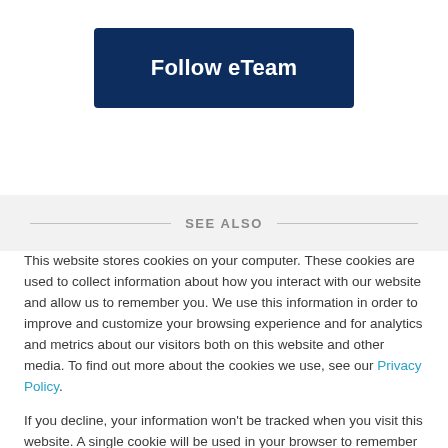Follow eTeam
SEE ALSO
This website stores cookies on your computer. These cookies are used to collect information about how you interact with our website and allow us to remember you. We use this information in order to improve and customize your browsing experience and for analytics and metrics about our visitors both on this website and other media. To find out more about the cookies we use, see our Privacy Policy.
If you decline, your information won't be tracked when you visit this website. A single cookie will be used in your browser to remember your preference not to be tracked.
Accept   Decline